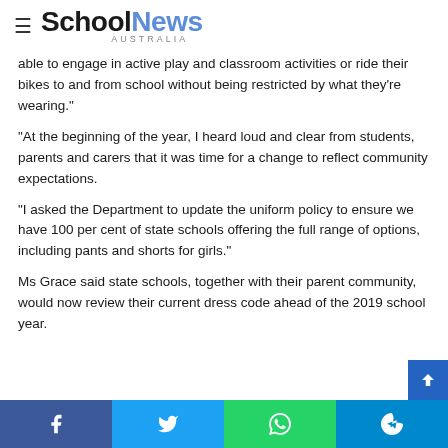School News Australia
able to engage in active play and classroom activities or ride their bikes to and from school without being restricted by what they're wearing."
"At the beginning of the year, I heard loud and clear from students, parents and carers that it was time for a change to reflect community expectations.
"I asked the Department to update the uniform policy to ensure we have 100 per cent of state schools offering the full range of options, including pants and shorts for girls."
Ms Grace said state schools, together with their parent community, would now review their current dress code ahead of the 2019 school year.
Facebook Twitter WhatsApp Telegram